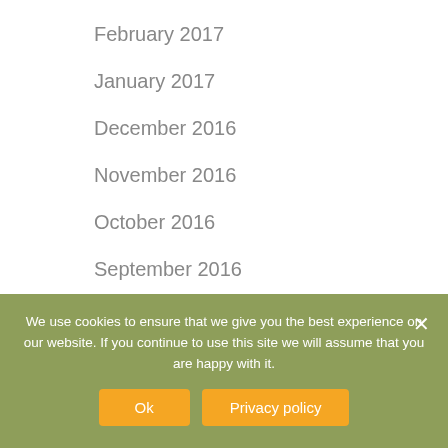February 2017
January 2017
December 2016
November 2016
October 2016
September 2016
August 2016
July 2016
June 2016
We use cookies to ensure that we give you the best experience on our website. If you continue to use this site we will assume that you are happy with it.